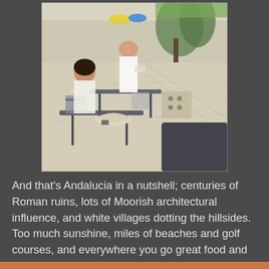[Figure (photo): Outdoor cafe scene in Andalucia, Spain. People sitting at metal tables on a sunny plaza with trees and a street visible in the background. A waiter is attending to customers.]
And that's Andalucia in a nutshell; centuries of Roman ruins, lots of Moorish architectural influence, and white villages dotting the hillsides. Too much sunshine, miles of beaches and golf courses, and everywhere you go great food and wine.